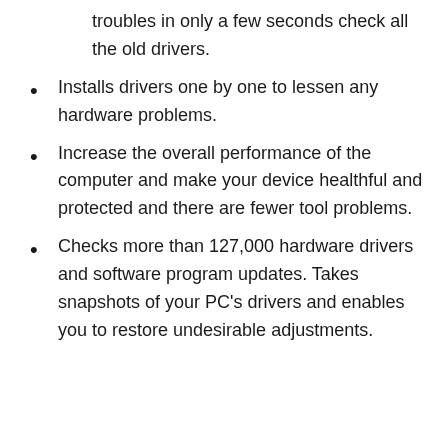troubles in only a few seconds check all the old drivers.
Installs drivers one by one to lessen any hardware problems.
Increase the overall performance of the computer and make your device healthful and protected and there are fewer tool problems.
Checks more than 127,000 hardware drivers and software program updates. Takes snapshots of your PC's drivers and enables you to restore undesirable adjustments.